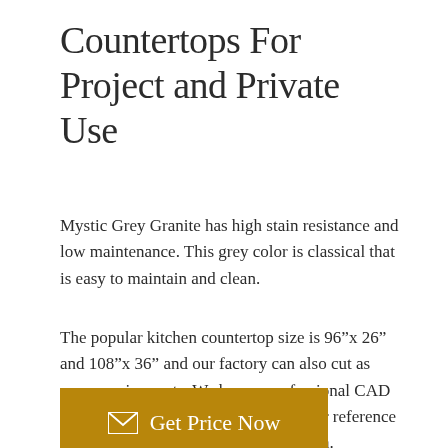Countertops For Project and Private Use
Mystic Grey Granite has high stain resistance and low maintenance. This grey color is classical that is easy to maintain and clean.
The popular kitchen countertop size is 96”x 26” and 108”x 36” and our factory can also cut as your requirements. We have a professional CAD team to help to make drawings for your reference before placing the order and production.
Get Price Now